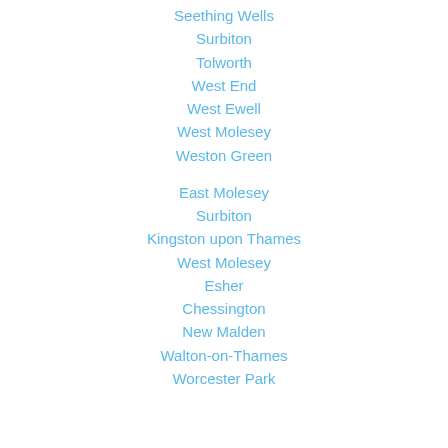Seething Wells
Surbiton
Tolworth
West End
West Ewell
West Molesey
Weston Green
East Molesey
Surbiton
Kingston upon Thames
West Molesey
Esher
Chessington
New Malden
Walton-on-Thames
Worcester Park